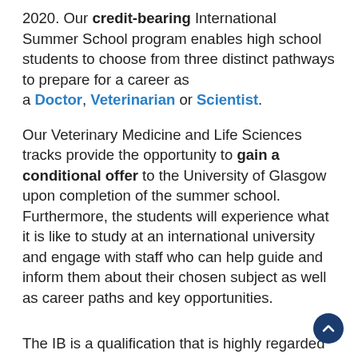2020. Our credit-bearing International Summer School program enables high school students to choose from three distinct pathways to prepare for a career as a Doctor, Veterinarian or Scientist.
Our Veterinary Medicine and Life Sciences tracks provide the opportunity to gain a conditional offer to the University of Glasgow upon completion of the summer school. Furthermore, the students will experience what it is like to study at an international university and engage with staff who can help guide and inform them about their chosen subject as well as career paths and key opportunities.
The IB is a qualification that is highly regarded and recognised as undergraduate admissions